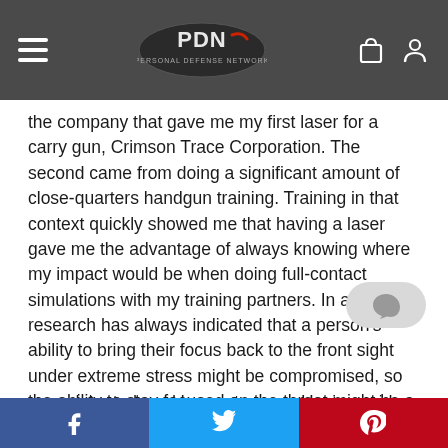PDN Personal Defense Network
the company that gave me my first laser for a carry gun, Crimson Trace Corporation. The second came from doing a significant amount of close-quarters handgun training. Training in that context quickly showed me that having a laser gave me the advantage of always knowing where my impact would be when doing full-contact simulations with my training partners. In addition, research has always indicated that a person's ability to bring their focus back to the front sight under extreme stress might be compromised, so the ability to stay focused on the threat might be a key advantage in a fight, and a weapon-mounted laser offers that advantage.
Full disclosure here: I speak very highly of Crimson Trace products for two reasons. First, they are quality and products, and second, the company provided the la… owned, tested, and began to carry. Having said that, I am cur…